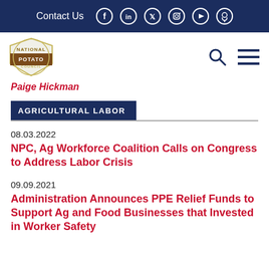Contact Us
[Figure (logo): National Potato Council logo - circular badge with brown and gold styling]
Paige Hickman
AGRICULTURAL LABOR
08.03.2022
NPC, Ag Workforce Coalition Calls on Congress to Address Labor Crisis
09.09.2021
Administration Announces PPE Relief Funds to Support Ag and Food Businesses that Invested in Worker Safety